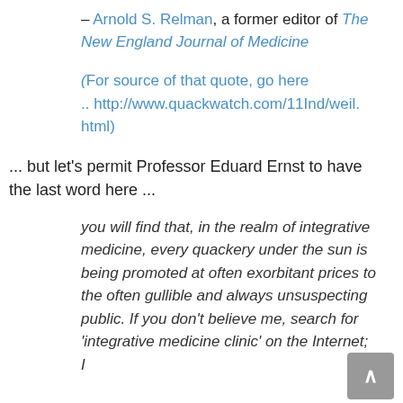– Arnold S. Relman, a former editor of The New England Journal of Medicine
(For source of that quote, go here .. http://www.quackwatch.com/11Ind/weil.html)
... but let's permit Professor Eduard Ernst to have the last word here ...
you will find that, in the realm of integrative medicine, every quackery under the sun is being promoted at often exorbitant prices to the often gullible and always unsuspecting public. If you don't believe me, search for 'integrative medicine clinic' on the Internet; I